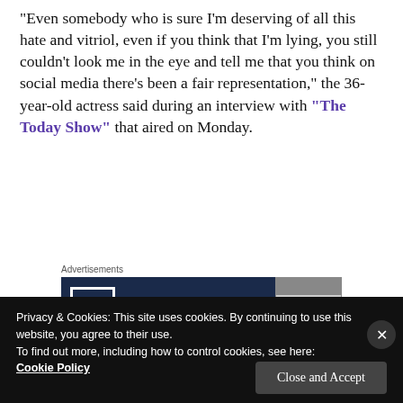“Even somebody who is sure I’m deserving of all this hate and vitriol, even if you think that I’m lying, you still couldn’t look me in the eye and tell me that you think on social media there’s been a fair representation,” the 36-year-old actress said during an interview with “The Today Show” that aired on Monday.
Advertisements
[Figure (other): WordPress Hosting advertisement banner with P logo and OPEN sign image. Text: WORDPRESS HOSTING THAT MEANS BUSINESS.]
Privacy & Cookies: This site uses cookies. By continuing to use this website, you agree to their use.
To find out more, including how to control cookies, see here: Cookie Policy
Close and Accept